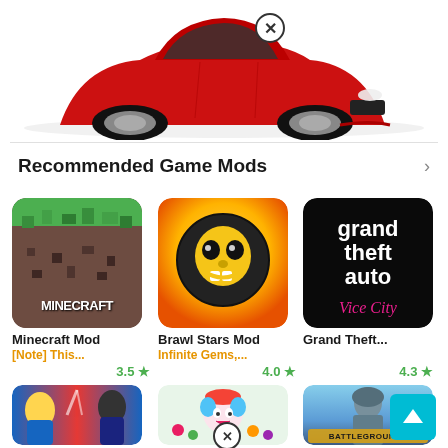[Figure (photo): Red sports car (partially cropped at top) with a circular close/dismiss button overlay in white and black at upper center]
Recommended Game Mods
[Figure (screenshot): Minecraft Mod app icon - green and brown grass/dirt block with MINECRAFT text]
Minecraft Mod
[Note] This...
3.5 ★
[Figure (screenshot): Brawl Stars Mod app icon - yellow background with skull/brawl stars logo]
Brawl Stars Mod
Infinite Gems,...
4.0 ★
[Figure (screenshot): Grand Theft Auto Vice City app icon - black background with GTA Vice City logo text]
Grand Theft...
4.3 ★
[Figure (screenshot): Clash Royale app icon - game characters against red/blue background]
Clash Royale
A lot of money...
[Figure (screenshot): Toca Life World app icon - cartoon girl with holiday hat]
Toca Life World...
Modify, unlock...
[Figure (screenshot): PUBG MOBILE app icon - armored soldier with BATTLEGROUNDS logo]
PUBG MOBILE
cheats to pubg...